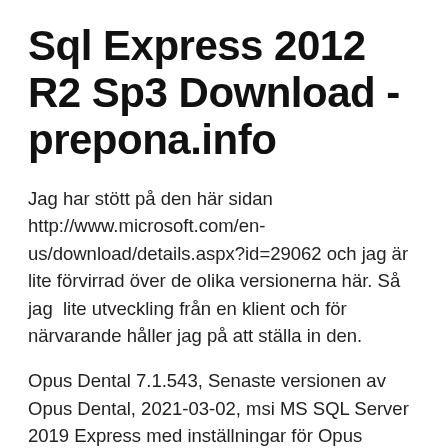Sql Express 2012 R2 Sp3 Download - prepona.info
Jag har stött på den här sidan http://www.microsoft.com/en-us/download/details.aspx?id=29062 och jag är lite förvirrad över de olika versionerna här. Så jag  lite utveckling från en klient och för närvarande håller jag på att ställa in den.
Opus Dental 7.1.543, Senaste versionen av Opus Dental, 2021-03-02, msi MS SQL Server 2019 Express med inställningar för Opus Dental. Det är